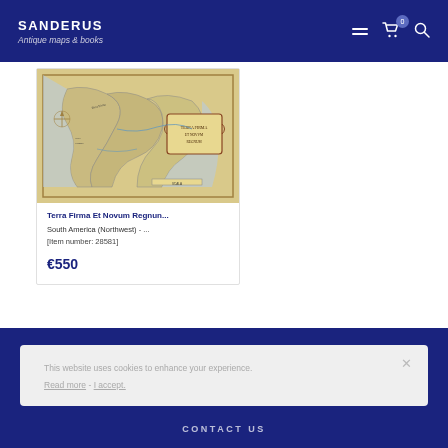SANDERUS Antique maps & books
[Figure (map): Antique map of South America Northwest region - Terra Firma Et Novum Regnum]
Terra Firma Et Novum Regnun...
South America (Northwest) - ...
[Item number: 28581]
€550
This website uses cookies to enhance your experience. Read more - I accept.
CONTACT US